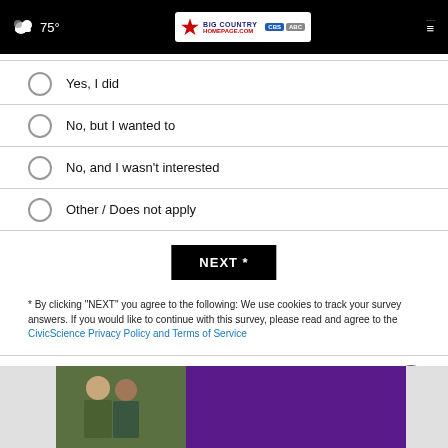75° Big Country Homepage
Yes, I did
No, but I wanted to
No, and I wasn't interested
Other / Does not apply
NEXT *
* By clicking "NEXT" you agree to the following: We use cookies to track your survey answers. If you would like to continue with this survey, please read and agree to the CivicScience Privacy Policy and Terms of Service
[Figure (photo): Advertisement banner with two men and purple background]